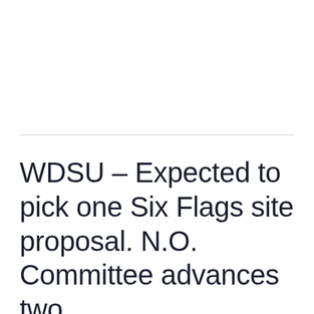WDSU – Expected to pick one Six Flags site proposal. N.O. Committee advances two